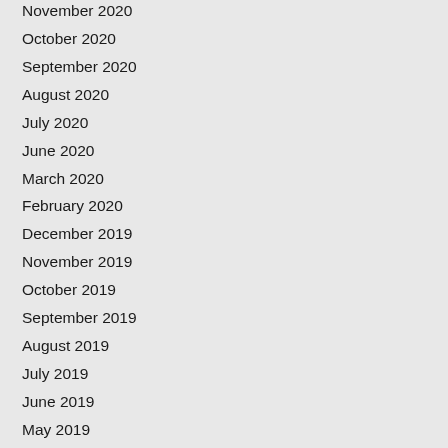November 2020
October 2020
September 2020
August 2020
July 2020
June 2020
March 2020
February 2020
December 2019
November 2019
October 2019
September 2019
August 2019
July 2019
June 2019
May 2019
April 2019
March 2019
December 2018
November 2018